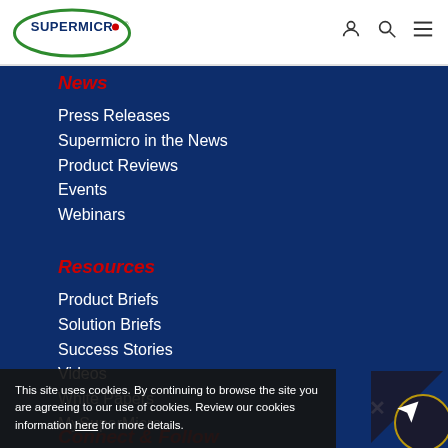[Figure (logo): Supermicro logo — green oval with dark blue text SUPERMICRO and a red dot]
[Figure (other): Navigation header icons: user/account icon, search icon, hamburger menu icon]
News
Press Releases
Supermicro in the News
Product Reviews
Events
Webinars
Resources
Product Briefs
Solution Briefs
Success Stories
Videos
White Papers
MySuperMicro
Connect & Follow
This site uses cookies. By continuing to browse the site you are agreeing to our use of cookies. Review our cookies information here for more details.